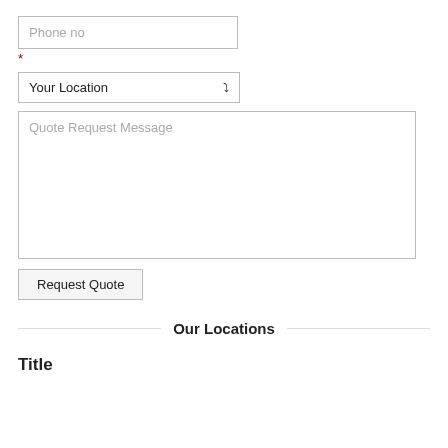Phone no
*
Your Location
Quote Request Message
Request Quote
Our Locations
Title